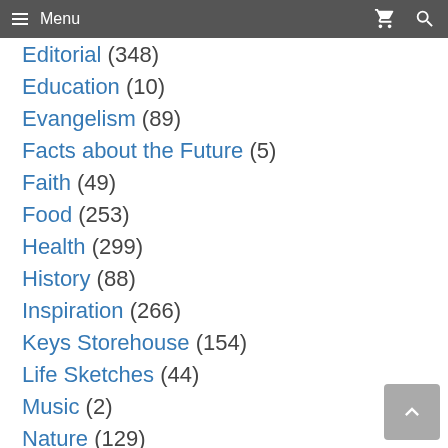Menu
Editorial (348)
Education (10)
Evangelism (89)
Facts about the Future (5)
Faith (49)
Food (253)
Health (299)
History (88)
Inspiration (266)
Keys Storehouse (154)
Life Sketches (44)
Music (2)
Nature (129)
Prophecy (121)